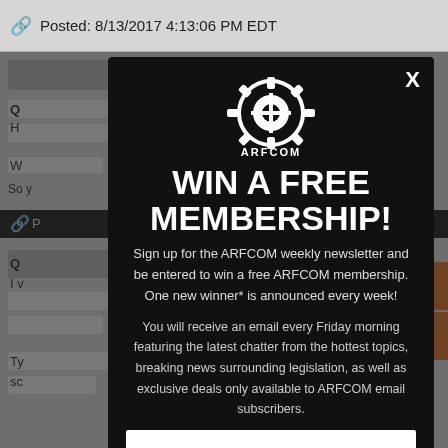Posted: 8/13/2017 4:13:06 PM EDT
[Figure (screenshot): Background forum page with rows of content, partially obscured by modal overlay]
WIN A FREE MEMBERSHIP!
Sign up for the ARFCOM weekly newsletter and be entered to win a free ARFCOM membership. One new winner* is announced every week!
You will receive an email every Friday morning featuring the latest chatter from the hottest topics, breaking news surrounding legislation, as well as exclusive deals only available to ARFCOM email subscribers.